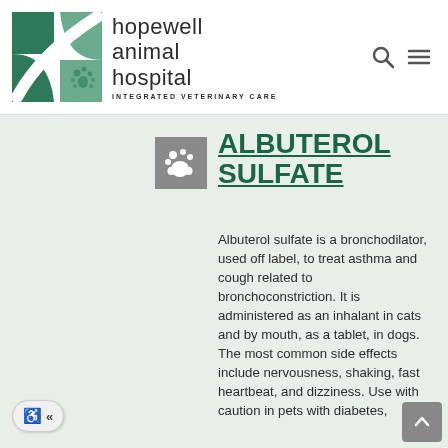[Figure (logo): Hopewell Animal Hospital logo with green H graphic and paw prints, text reads 'hopewell animal hospital INTEGRATED VETERINARY CARE']
ALBUTEROL SULFATE
Albuterol sulfate is a bronchodilator, used off label, to treat asthma and cough related to bronchoconstriction. It is administered as an inhalant in cats and by mouth, as a tablet, in dogs. The most common side effects include nervousness, shaking, fast heartbeat, and dizziness. Use with caution in pets with diabetes,